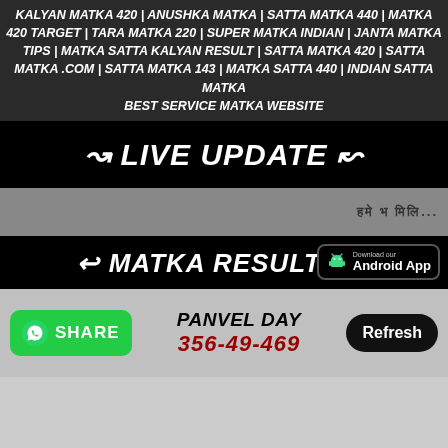KALYAN MATKA 420 | ANUSHKA MATKA | SATTA MATKA 440 | MATKA 420 TARGET | TARA MATKA 220 | SUPER MATKA INDIAN | JANTA MATKA TIPS | MATKA SATTA KALYAN RESULT | SATTA MATKA 420 | SATTA MATKA .COM | SATTA MATKA 143 | MATKA SATTA 440 | INDIAN SATTA MATKA
BEST SERVICE MATKA WEBSITE
~ LIVE UPDATE ~
हमे भ मिलि...
~ MATKA RESULTS ~
[Figure (logo): Download our Android App button with Android robot icon]
SHARE
PANVEL DAY
356-49-469
Refresh